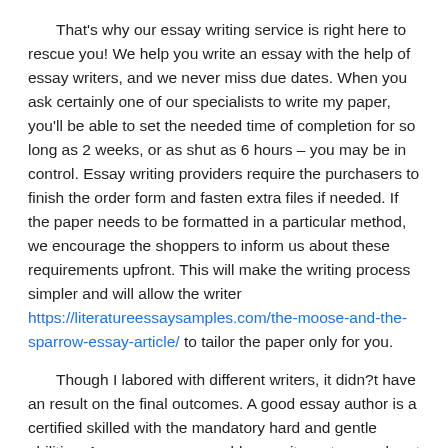That's why our essay writing service is right here to rescue you! We help you write an essay with the help of essay writers, and we never miss due dates. When you ask certainly one of our specialists to write my paper, you'll be able to set the needed time of completion for so long as 2 weeks, or as shut as 6 hours – you may be in control. Essay writing providers require the purchasers to finish the order form and fasten extra files if needed. If the paper needs to be formatted in a particular method, we encourage the shoppers to inform us about these requirements upfront. This will make the writing process simpler and will allow the writer https://literatureessaysamples.com/the-moose-and-the-sparrow-essay-article/ to tailor the paper only for you.
Though I labored with different writers, it didn?t have an result on the final outcomes. A good essay author is a certified skilled with the mandatory hard and gentle abilities. A one-on-one assembly permits us to search out flexible and outgoing authors with great time-management qualities and a genuine ardour for writing. Here you get the most important bang https://literatureessaysamples.com/joe-